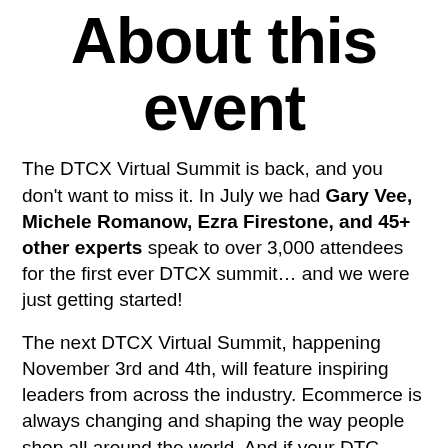About this event
The DTCX Virtual Summit is back, and you don't want to miss it. In July we had Gary Vee, Michele Romanow, Ezra Firestone, and 45+ other experts speak to over 3,000 attendees for the first ever DTCX summit… and we were just getting started!
The next DTCX Virtual Summit, happening November 3rd and 4th, will feature inspiring leaders from across the industry. Ecommerce is always changing and shaping the way people shop all around the world. And if your DTC brand has been in business long enough, you already know offering an excellent product isn't enough to survive — let alone thrive. Today it's more about delivering valuable CX to attract, engage, and retain customers...